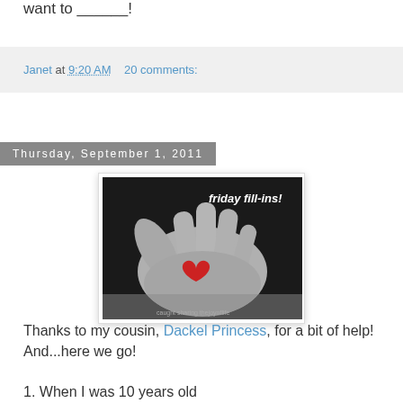want to ______!
Janet at 9:20 AM   20 comments:
Thursday, September 1, 2011
[Figure (photo): Black and white photo of an open hand holding a small red heart, with text 'friday fill-ins!' in the upper right corner]
Thanks to my cousin, Dackel Princess, for a bit of help! And...here we go!
1.  When I was 10 years old